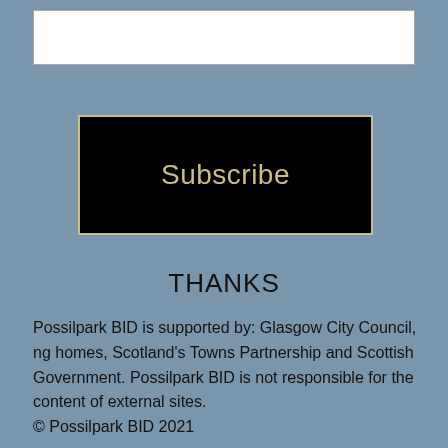[Figure (other): White rectangle input box at the top of the page]
[Figure (other): Black button with 'Subscribe' text in cream/golden color]
THANKS
Possilpark BID is supported by: Glasgow City Council, ng homes, Scotland's Towns Partnership and Scottish Government. Possilpark BID is not responsible for the content of external sites.
© Possilpark BID 2021